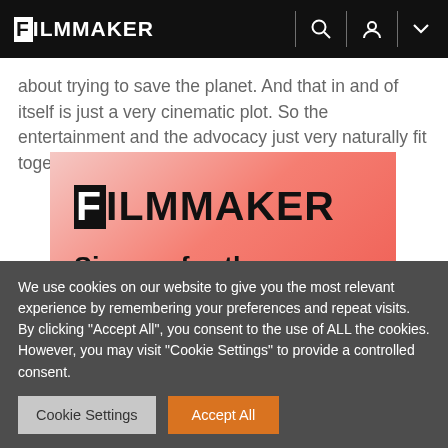FILMMAKER
about trying to save the planet. And that in and of itself is just a very cinematic plot. So the entertainment and the advocacy just very naturally fit together.
[Figure (logo): Filmmaker magazine newsletter signup promotional box with gradient red/pink background, showing FILMMAKER logo and text 'Sign up for the Filmmaker newsletter']
We use cookies on our website to give you the most relevant experience by remembering your preferences and repeat visits. By clicking "Accept All", you consent to the use of ALL the cookies. However, you may visit "Cookie Settings" to provide a controlled consent.